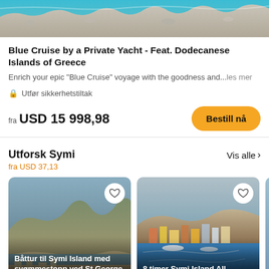[Figure (photo): Aerial view of rocky coastline with turquoise water]
Blue Cruise by a Private Yacht - Feat. Dodecanese Islands of Greece
Enrich your epic "Blue Cruise" voyage with the goodness and...les mer
🔒 Utfør sikkerhetstiltak
fra USD 15 998,98
Bestill nå
Utforsk Symi
fra USD 37,13
Vis alle >
[Figure (photo): Boat trip photo - Symi island mountainous coast]
Båttur til Symi Island med svømmestopp ved St George Bay
[Figure (photo): 8 timer Symi Island All Inclusive med yacht - colorful harbor town]
8 timer Symi Island All Inclusive med yacht